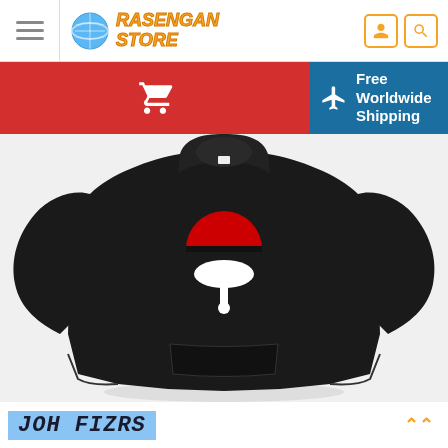Rasengan Store - navigation header with hamburger menu, logo, user and search icons
[Figure (screenshot): Red cart button and blue Free Worldwide Shipping banner]
[Figure (photo): Black hoodie with Uchiha clan symbol (red semicircle on top of white fan shape) printed on the chest]
JOH FIZRS